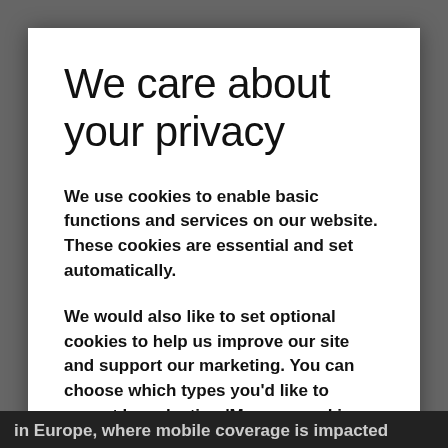We care about your privacy
We use cookies to enable basic functions and services on our website. These cookies are essential and set automatically.
We would also like to set optional cookies to help us improve our site and support our marketing. You can choose which types you'd like to accept by selecting 'Manage cookie settings'.
If you'd like to accept all optional cookies, select
in Europe, where mobile coverage is impacted